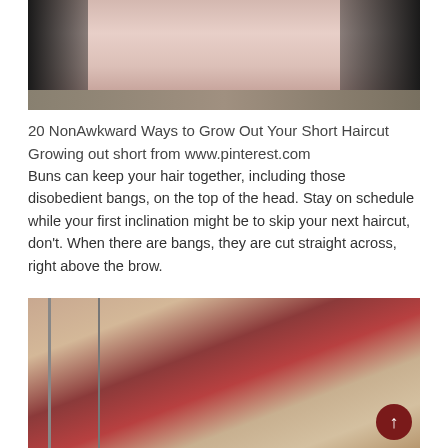[Figure (photo): Top portion of a photo showing a person's neck/chest area wearing a black jacket with a decorative necklace, against a light skin-toned background.]
20 NonAwkward Ways to Grow Out Your Short Haircut
Growing out short from www.pinterest.com
Buns can keep your hair together, including those disobedient bangs, on the top of the head. Stay on schedule while your first inclination might be to skip your next haircut, don't. When there are bangs, they are cut straight across, right above the brow.
[Figure (photo): A woman with blonde hair using a hair dryer, photographed in a mirror reflection in what appears to be a salon with red chairs visible in the background. The top of another person's head with light brown hair is in the foreground.]